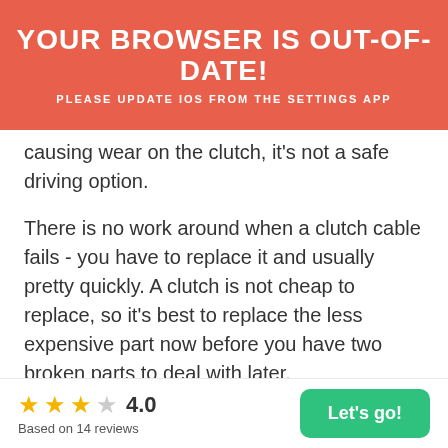[Figure (screenshot): Browser out-of-date warning banner overlay in salmon/red color with white text: 'YOUR BROWSER IS OUT-OF-DATE!' and subtitle 'PLEASE UPDATE IOS FROM THE SETTINGS APP']
gear. Other than the fact it will probably be
causing wear on the clutch, it’s not a safe driving option.
There is no work around when a clutch cable fails - you have to replace it and usually pretty quickly. A clutch is not cheap to replace, so it’s best to replace the less expensive part now before you have two broken parts to deal with later.
If you notice a change in how your clutch pedal feels or if there is a difference in how high or low
4.0
Based on 14 reviews
Let’s go!